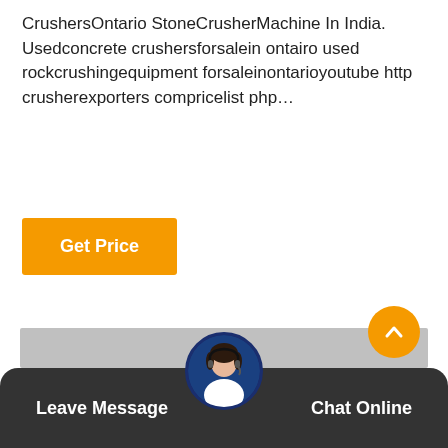CrushersOntario StoneCrusherMachine In India. Usedconcrete crushersforsalein ontairo used rockcrushingequipment forsaleinontarioyoutube http crusherexporters compricelist php…
[Figure (other): Orange 'Get Price' button]
[Figure (photo): Large gray placeholder image area]
[Figure (other): Orange scroll-to-top circle button with upward chevron arrow]
[Figure (other): Dark footer bar with 'Leave Message' on the left, circular avatar of a woman with headset in the center, and 'Chat Online' on the right]